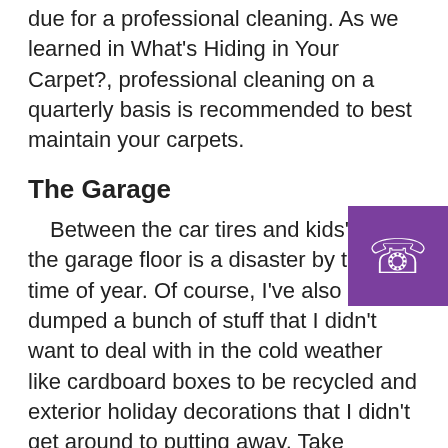due for a professional cleaning. As we learned in What's Hiding in Your Carpet?, professional cleaning on a quarterly basis is recommended to best maintain your carpets.
The Garage
Between the car tires and kids' boots, the garage floor is a disaster by this time of year. Of course, I've also dumped a bunch of stuff that I didn't want to deal with in the cold weather like cardboard boxes to be recycled and exterior holiday decorations that I didn't get around to putting away. Take advantage of the nice weather by pulling everything outside and really cleaning the floor. As with the other hard surfaces, sweep first, then mop. Mildly soapy water is perfect for the concrete surface. Don't forget to clean any windows and wipe down the corners where spider